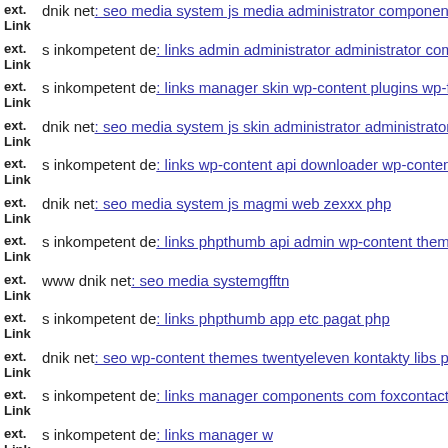ext. Link dnik net: seo media system js media administrator components
ext. Link s inkompetent de: links admin administrator administrator com
ext. Link s inkompetent de: links manager skin wp-content plugins wp-fi
ext. Link dnik net: seo media system js skin administrator administrator
ext. Link s inkompetent de: links wp-content api downloader wp-content
ext. Link dnik net: seo media system js magmi web zexxx php
ext. Link s inkompetent de: links phpthumb api admin wp-content theme
ext. Link www dnik net: seo media systemgfftn
ext. Link s inkompetent de: links phpthumb app etc pagat php
ext. Link dnik net: seo wp-content themes twentyeleven kontakty libs ph
ext. Link s inkompetent de: links manager components com foxcontact m
ext. Link s inkompetent de: links manager w